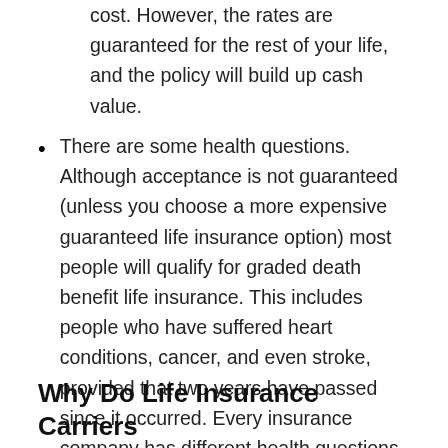cost. However, the rates are guaranteed for the rest of your life, and the policy will build up cash value.
There are some health questions. Although acceptance is not guaranteed (unless you choose a more expensive guaranteed life insurance option) most people will qualify for graded death benefit life insurance. This includes people who have suffered heart conditions, cancer, and even stroke, provided that two years have passed since it occurred. Every insurance company has different health questions. Our knowledgeable agent can help place you in the least costly plan for your situation.
Why Do Life Insurance Carriers